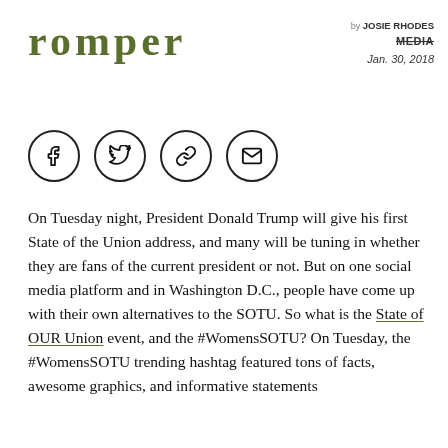romper
by JOSIE RHODES
MEDIA
Jan. 30, 2018
[Figure (infographic): Four social media sharing icons in circles: Facebook (f), Twitter (bird), link/chain, envelope/email]
On Tuesday night, President Donald Trump will give his first State of the Union address, and many will be tuning in whether they are fans of the current president or not. But on one social media platform and in Washington D.C., people have come up with their own alternatives to the SOTU. So what is the State of OUR Union event, and the #WomensSOTU? On Tuesday, the #WomensSOTU trending hashtag featured tons of facts, awesome graphics, and informative statements about women from around the...